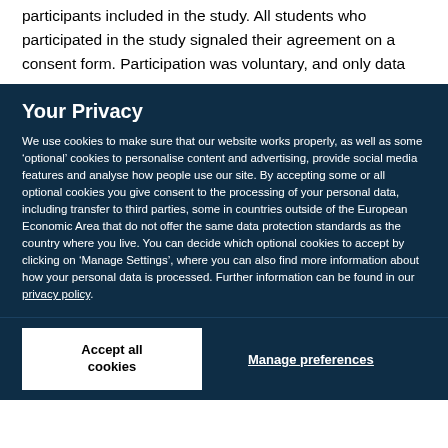participants included in the study. All students who participated in the study signaled their agreement on a consent form. Participation was voluntary, and only data
Your Privacy
We use cookies to make sure that our website works properly, as well as some ‘optional’ cookies to personalise content and advertising, provide social media features and analyse how people use our site. By accepting some or all optional cookies you give consent to the processing of your personal data, including transfer to third parties, some in countries outside of the European Economic Area that do not offer the same data protection standards as the country where you live. You can decide which optional cookies to accept by clicking on ‘Manage Settings’, where you can also find more information about how your personal data is processed. Further information can be found in our privacy policy.
Accept all cookies
Manage preferences